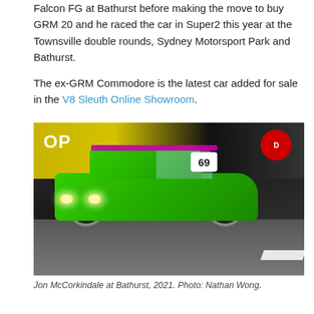Falcon FG at Bathurst before making the move to buy GRM 20 and he raced the car in Super2 this year at the Townsville double rounds, Sydney Motorsport Park and Bathurst.
The ex-GRM Commodore is the latest car added for sale in the V8 Sleuth Online Showroom.
[Figure (photo): Green Holden Commodore race car number 69 driven by McCorkindale on track at Bathurst, with yellow Dunlop advertising banners in background.]
Jon McCorkindale at Bathurst, 2021. Photo: Nathan Wong.